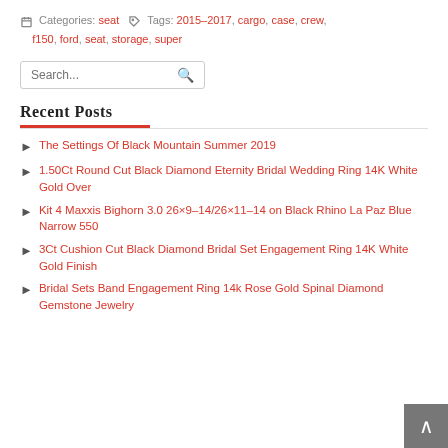Categories: seat  Tags: 2015-2017, cargo, case, crew, f150, ford, seat, storage, super
Recent Posts
The Settings Of Black Mountain Summer 2019
1.50Ct Round Cut Black Diamond Eternity Bridal Wedding Ring 14K White Gold Over
Kit 4 Maxxis Bighorn 3.0 26×9-14/26×11-14 on Black Rhino La Paz Blue Narrow 550
3Ct Cushion Cut Black Diamond Bridal Set Engagement Ring 14K White Gold Finish
Bridal Sets Band Engagement Ring 14k Rose Gold Spinal Diamond Gemstone Jewelry